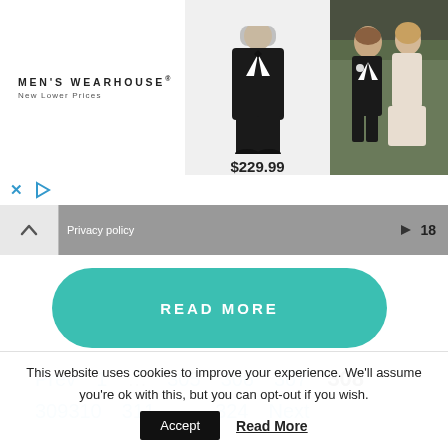[Figure (screenshot): Men's Wearhouse advertisement banner showing a suit priced at $229.99 and a couple in formalwear]
Privacy policy
READ MORE
Prev  1  …  305  306  307  308  309  310  311  …  324  Next
This website uses cookies to improve your experience. We'll assume you're ok with this, but you can opt-out if you wish.
Accept  Read More